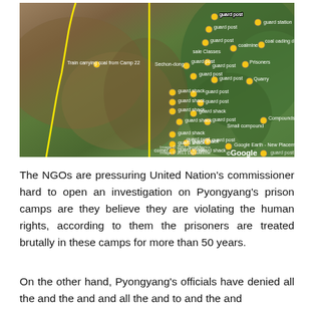[Figure (map): Google Earth satellite map showing a North Korean prison camp (Camp 22 area) with labeled guard posts, guard shacks, guard stations, coal mine, coal loading depot, compounds, quarry, prisoners area, and a yellow boundary line. Multiple location markers are visible. Train carrying coal from Camp 22 is labeled on the left. Google Earth copyright notice at bottom.]
The NGOs are pressuring United Nation's commissioner hard to open an investigation on Pyongyang's prison camps are they believe they are violating the human rights, according to them the prisoners are treated brutally in these camps for more than 50 years.
On the other hand, Pyongyang's officials have denied all the and the and and all the and to and the and